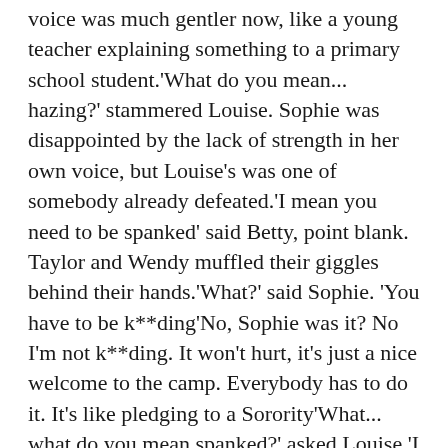voice was much gentler now, like a young teacher explaining something to a primary school student.'What do you mean... hazing?' stammered Louise. Sophie was disappointed by the lack of strength in her own voice, but Louise's was one of somebody already defeated.'I mean you need to be spanked' said Betty, point blank. Taylor and Wendy muffled their giggles behind their hands.'What?' said Sophie. 'You have to be k**ding'No, Sophie was it? No I'm not k**ding. It won't hurt, it's just a nice welcome to the camp. Everybody has to do it. It's like pledging to a Sorority'What... what do you mean spanked?' asked Louise.'I mean you have to come over my knee and get your little bottom spanked. It'll only last a minute, and then we can all be friends'Louise started shaking her head from side to side. She was terrified, and she wasn't shy about showing it. Sophie wondered exactly what these girls were playing at, but also knew from experience that often groups of girls judge what they think about others through